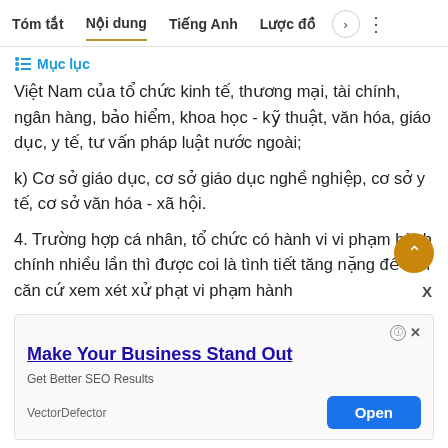Tóm tắt  Nội dung  Tiếng Anh  Lược đồ
Mục lục
Việt Nam của tổ chức kinh tế, thương mại, tài chính, ngân hàng, bảo hiểm, khoa học - kỹ thuật, văn hóa, giáo dục, y tế, tư vấn pháp luật nước ngoài;
k) Cơ sở giáo dục, cơ sở giáo dục nghề nghiệp, cơ sở y tế, cơ sở văn hóa - xã hội.
4. Trường hợp cá nhân, tổ chức có hành vi vi phạm hành chính nhiều lần thì được coi là tình tiết tăng nặng để làm căn cứ xem xét xử phạt vi phạm hành
[Figure (screenshot): Advertisement banner: Make Your Business Stand Out - Get Better SEO Results - VectorDefector - Open button]